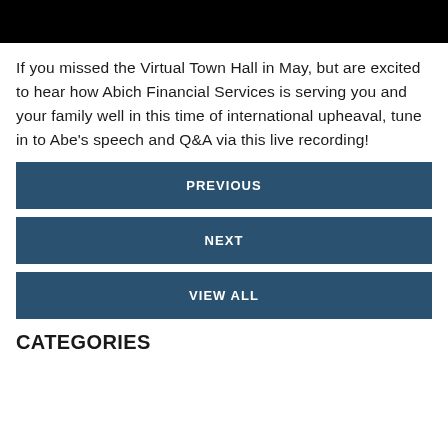[Figure (photo): Black image bar at the top of the page]
If you missed the Virtual Town Hall in May, but are excited to hear how Abich Financial Services is serving you and your family well in this time of international upheaval, tune in to Abe's speech and Q&A via this live recording!
PREVIOUS
NEXT
VIEW ALL
CATEGORIES